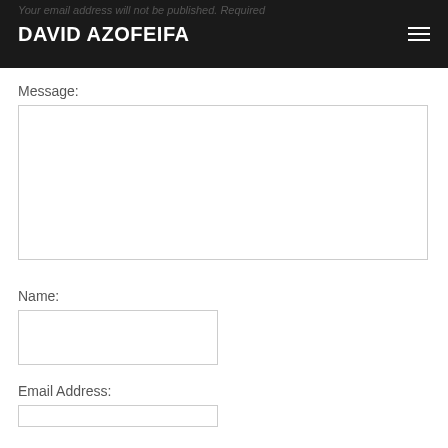Your email address will not be published. Required | DAVID AZOFEIFA
Message:
[Figure (other): Large textarea input field for message]
Name:
[Figure (other): Text input field for name]
Email Address:
[Figure (other): Text input field for email address]